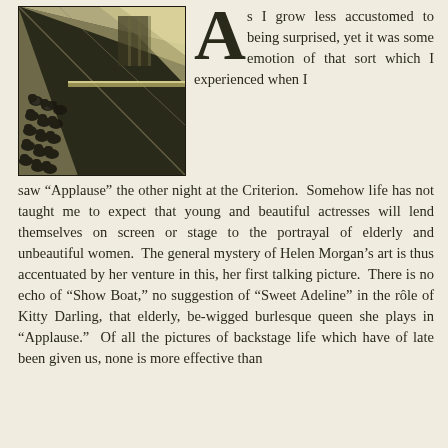[Figure (illustration): Black and white illustration of a theater audience viewed from above, showing rows of seated spectators and dramatic lighting or stage elements from an elevated perspective.]
As I grow less accustomed to being surprised, yet it was some emotion of that sort which I experienced when I saw "Applause" the other night at the Criterion. Somehow life has not taught me to expect that young and beautiful actresses will lend themselves on screen or stage to the portrayal of elderly and unbeautiful women. The general mystery of Helen Morgan's art is thus accentuated by her venture in this, her first talking picture. There is no echo of "Show Boat," no suggestion of "Sweet Adeline" in the rôle of Kitty Darling, that elderly, be-wigged burlesque queen she plays in "Applause." Of all the pictures of backstage life which have of late been given us, none is more effective than this, and this passage of the text is cut off.